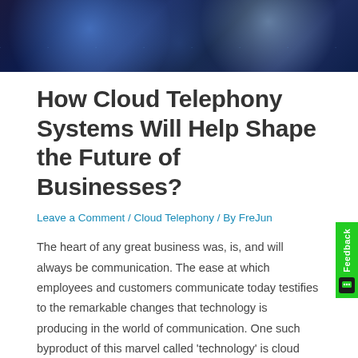[Figure (photo): Aerial night view of a city with glowing network connection lines overlaid, suggesting digital connectivity and cloud technology.]
How Cloud Telephony Systems Will Help Shape the Future of Businesses?
Leave a Comment / Cloud Telephony / By FreJun
The heart of any great business was, is, and will always be communication. The ease at which employees and customers communicate today testifies to the remarkable changes that technology is producing in the world of communication. One such byproduct of this marvel called 'technology' is cloud telephony. Many businesses globally are adopting cloud telephony systems to …
Read More »